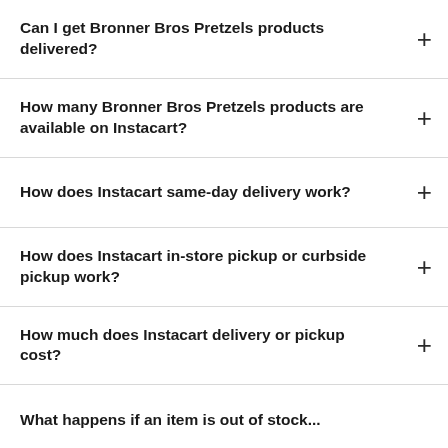Can I get Bronner Bros Pretzels products delivered?
How many Bronner Bros Pretzels products are available on Instacart?
How does Instacart same-day delivery work?
How does Instacart in-store pickup or curbside pickup work?
How much does Instacart delivery or pickup cost?
What happens if an item is out of stock...